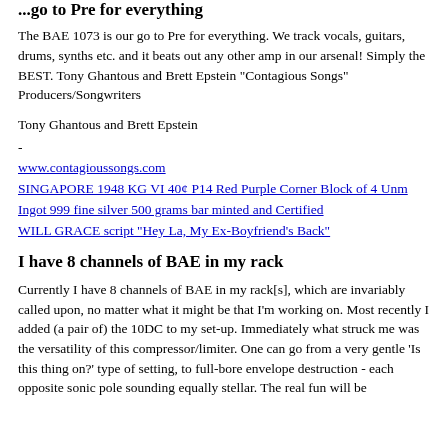go to Pre for everything
The BAE 1073 is our go to Pre for everything. We track vocals, guitars, drums, synths etc. and it beats out any other amp in our arsenal! Simply the BEST. Tony Ghantous and Brett Epstein "Contagious Songs" Producers/Songwriters
Tony Ghantous and Brett Epstein
-
www.contagioussongs.com
SINGAPORE 1948 KG VI 40¢ P14 Red Purple Corner Block of 4 Unm
Ingot 999 fine silver 500 grams bar minted and Certified
WILL GRACE script "Hey La, My Ex-Boyfriend's Back"
I have 8 channels of BAE in my rack
Currently I have 8 channels of BAE in my rack[s], which are invariably called upon, no matter what it might be that I'm working on. Most recently I added (a pair of) the 10DC to my set-up. Immediately what struck me was the versatility of this compressor/limiter. One can go from a very gentle 'Is this thing on?' type of setting, to full-bore envelope destruction - each opposite sonic pole sounding equally stellar. The real fun will be